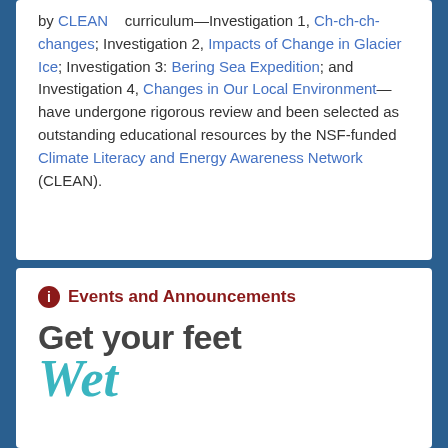by CLEAN curriculum—Investigation 1, Ch-ch-ch-changes; Investigation 2, Impacts of Change in Glacier Ice; Investigation 3: Bering Sea Expedition; and Investigation 4, Changes in Our Local Environment—have undergone rigorous review and been selected as outstanding educational resources by the NSF-funded Climate Literacy and Energy Awareness Network (CLEAN).
Events and Announcements
Get your feet
Wet